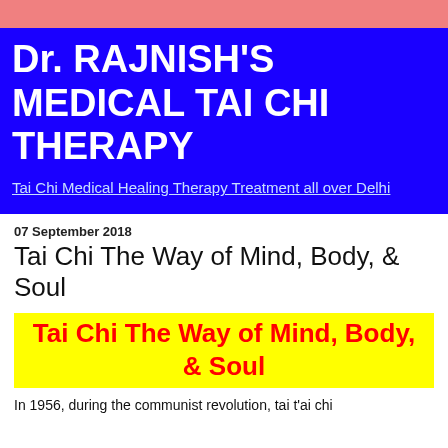Dr. RAJNISH'S MEDICAL TAI CHI THERAPY
Tai Chi Medical Healing Therapy Treatment all over Delhi
07 September 2018
Tai Chi The Way of Mind, Body, & Soul
Tai Chi The Way of Mind, Body, & Soul
In 1956, during the communist revolution, tai t'ai chi